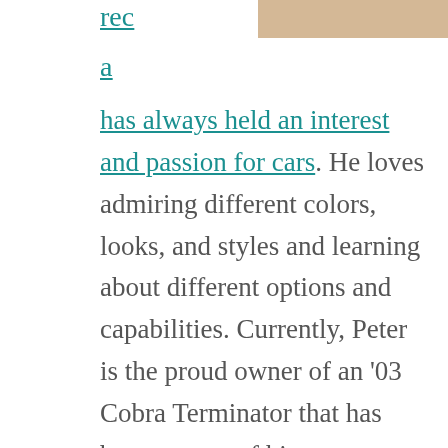[Figure (photo): Partial image strip visible in upper right corner, tan/beige color]
rec

a

has always held an interest and passion for cars. He loves admiring different colors, looks, and styles and learning about different options and capabilities. Currently, Peter is the proud owner of an ‘03 Cobra Terminator that has become one of his most prized possessions. Peter is also a fan of Mustangs and other top quality cars by the Ford Motor Company. Throughout the year, he enjoys attending a variety of car shows. You can also find him checking out different features and models as he drives through traffic or simply walks through the parking lot